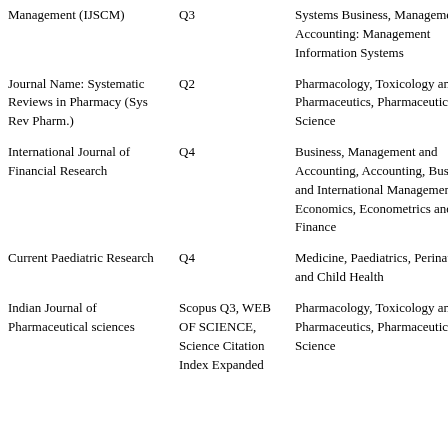| Journal Name | Quartile | Subject Area |
| --- | --- | --- |
| Management (IJSCM) | Q3 | Systems Business, Management and Accounting: Management Information Systems |
| Journal Name: Systematic Reviews in Pharmacy (Sys Rev Pharm.) | Q2 | Pharmacology, Toxicology and Pharmaceutics, Pharmaceutical Science |
| International Journal of Financial Research | Q4 | Business, Management and Accounting, Accounting, Business and International Management, Economics, Econometrics and Finance |
| Current Paediatric Research | Q4 | Medicine, Paediatrics, Perinatology and Child Health |
| Indian Journal of Pharmaceutical sciences | Scopus Q3, WEB OF SCIENCE, Science Citation Index Expanded | Pharmacology, Toxicology and Pharmaceutics, Pharmaceutical Science |